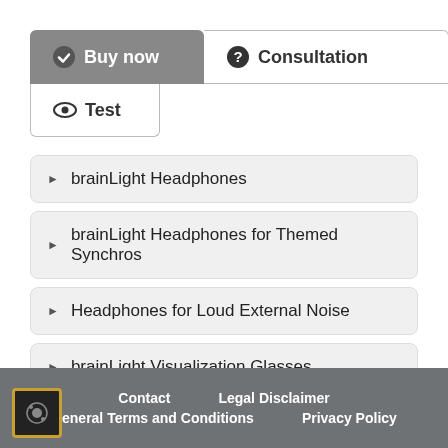Buy now
Consultation
Test
brainLight Headphones
brainLight Headphones for Themed Synchros
Headphones for Loud External Noise
brainLight Visualization Glasses
brainLight Connection Cable
Software for brainLight-Systems
Contact   Legal Disclaimer   General Terms and Conditions   Privacy Policy